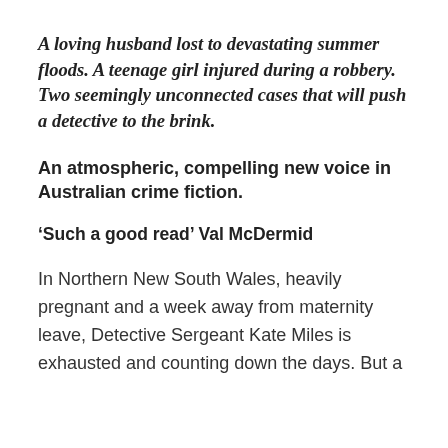A loving husband lost to devastating summer floods. A teenage girl injured during a robbery. Two seemingly unconnected cases that will push a detective to the brink.
An atmospheric, compelling new voice in Australian crime fiction.
‘Such a good read’ Val McDermid
In Northern New South Wales, heavily pregnant and a week away from maternity leave, Detective Sergeant Kate Miles is exhausted and counting down the days. But a